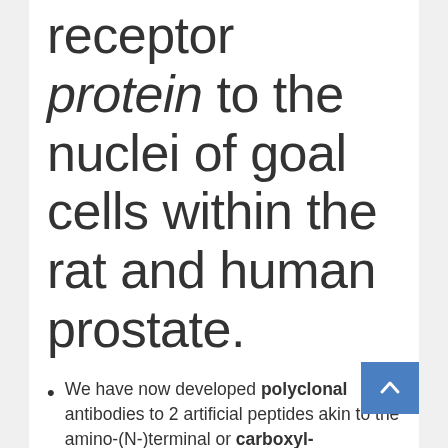receptor protein to the nuclei of goal cells within the rat and human prostate.
We have now developed polyclonal antibodies to 2 artificial peptides akin to the amino-(N-)terminal or carboxyl-(C-)terminal segments of the human androgen receptor (hAR) protein, as deduced from the nucleic acid sequence of the androgen receptor